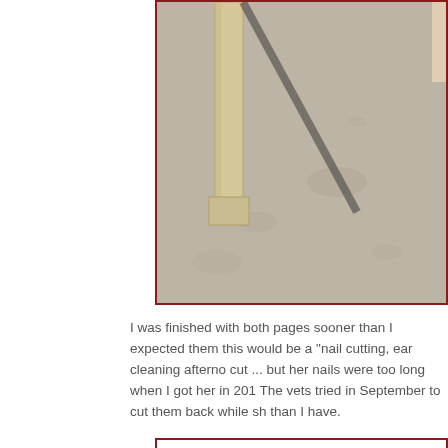[Figure (photo): A photo of a concrete floor with a wooden table leg or chair leg visible, bordered by a dark red/maroon frame. The image is cropped showing only the lower portion.]
I was finished with both pages sooner than I expected them this would be a "nail cutting, ear cleaning afterno cut ... but her nails were too long when I got her in 201 The vets tried in September to cut them back while sh than I have.